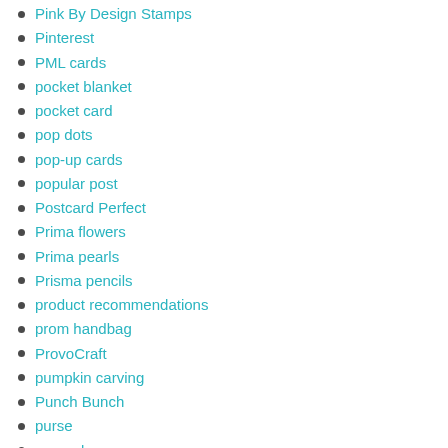Pink By Design Stamps
Pinterest
PML cards
pocket blanket
pocket card
pop dots
pop-up cards
popular post
Postcard Perfect
Prima flowers
Prima pearls
Prisma pencils
product recommendations
prom handbag
ProvoCraft
pumpkin carving
Punch Bunch
purse
queen bee
RAKs
Ranger
Ranger Archival Ink